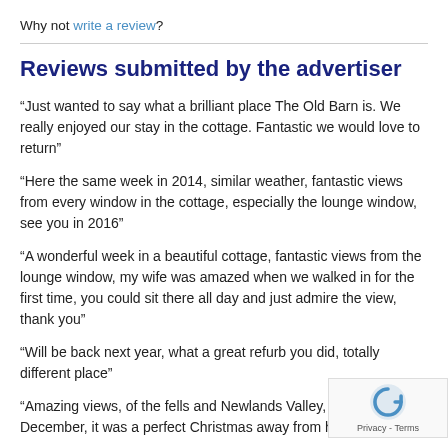Why not write a review?
Reviews submitted by the advertiser
“Just wanted to say what a brilliant place The Old Barn is. We really enjoyed our stay in the cottage. Fantastic we would love to return”
“Here the same week in 2014, similar weather, fantastic views from every window in the cottage, especially the lounge window, see you in 2016”
“A wonderful week in a beautiful cottage, fantastic views from the lounge window, my wife was amazed when we walked in for the first time, you could sit there all day and just admire the view, thank you”
“Will be back next year, what a great refurb you did, totally different place”
“Amazing views, of the fells and Newlands Valley, weather w... for December, it was a perfect Christmas away from home, we loved